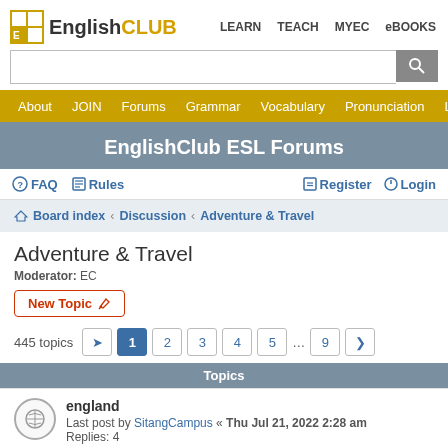EnglishCLUB — LEARN  TEACH  MYEC  eBOOKS
EnglishClub ESL Forums
FAQ  Rules  Register  Login
Board index › Discussion › Adventure & Travel
Adventure & Travel
Moderator: EC
New Topic
445 topics  1  2  3  4  5  ...  9
Topics
england
Last post by SitangCampus « Thu Jul 21, 2022 2:28 am
Replies: 4